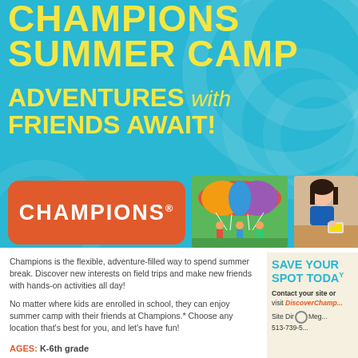CHAMPIONS SUMMER CAMP
ADVENTURES with FRIENDS AWAIT!
[Figure (logo): Champions logo in orange rounded rectangle with white bold text]
[Figure (photo): Children playing parachute game on grass field]
[Figure (photo): Young girl doing arts and crafts activity]
Champions is the flexible, adventure-filled way to spend summer break. Discover new interests on field trips and make new friends with hands-on activities all day!
No matter where kids are enrolled in school, they can enjoy summer camp with their friends at Champions.* Choose any location that's best for you, and let's have fun!
AGES: K-6th grade
SAVE YOUR SPOT TODAY
Contact your site or visit DiscoverChampions...
Site Director: Meg... 513-739-5...